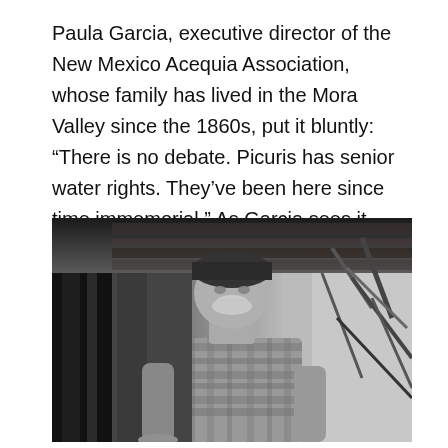Paula Garcia, executive director of the New Mexico Acequia Association, whose family has lived in the Mora Valley since the 1860s, put it bluntly: “There is no debate. Picuris has senior water rights. They’ve been here since time immemorial.” As Garcia sees it, “The people on the acequias don’t understand water law — that you can’t fight with the pueblos the way you can fight with other acequias.”
[Figure (photo): Black and white photograph of an elderly man wearing a dark cap and plaid shirt, standing in what appears to be a covered outdoor area with wooden beams and metal equipment or furniture visible around him.]